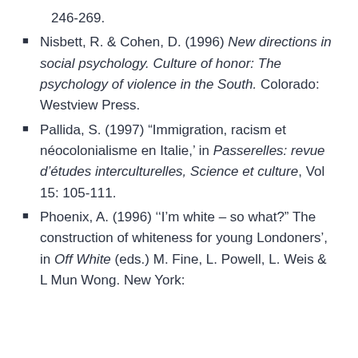246-269.
Nisbett, R. & Cohen, D. (1996) New directions in social psychology. Culture of honor: The psychology of violence in the South. Colorado: Westview Press.
Pallida, S. (1997) “Immigration, racism et néocolonialisme en Italie,’ in Passerelles: revue d’études interculturelles, Science et culture, Vol 15: 105-111.
Phoenix, A. (1996) ‘‘I’m white – so what?” The construction of whiteness for young Londoners’, in Off White (eds.) M. Fine, L. Powell, L. Weis & L Mun Wong. New York: